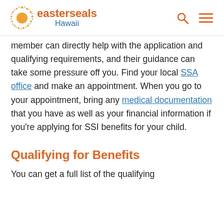easterseals Hawaii
member can directly help with the application and qualifying requirements, and their guidance can take some pressure off you. Find your local SSA office and make an appointment. When you go to your appointment, bring any medical documentation that you have as well as your financial information if you're applying for SSI benefits for your child.
Qualifying for Benefits
You can get a full list of the qualifying